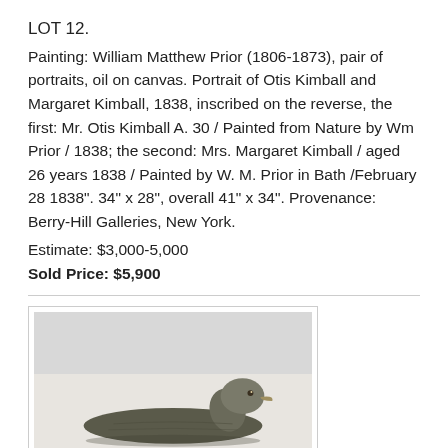LOT 12.
Painting: William Matthew Prior (1806-1873), pair of portraits, oil on canvas. Portrait of Otis Kimball and Margaret Kimball, 1838, inscribed on the reverse, the first: Mr. Otis Kimball A. 30 / Painted from Nature by Wm Prior / 1838; the second: Mrs. Margaret Kimball / aged 26 years 1838 / Painted by W. M. Prior in Bath /February 28 1838". 34" x 28", overall 41" x 34". Provenance: Berry-Hill Galleries, New York.
Estimate: $3,000-5,000
Sold Price: $5,900
[Figure (photo): Partial photo of a carved duck decoy resting on a surface, visible in the lower portion of the image frame. Upper part shows a plain gray background.]